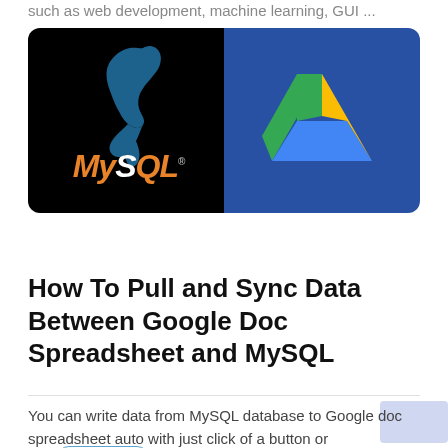such as web development, machine learning, GUI ...
[Figure (illustration): Split image: left half shows MySQL logo (dolphin silhouette and MySQL text in orange and white on black background), right half shows Google Drive logo (triangle with green, blue, and yellow segments) on dark blue background]
Database
How To Pull and Sync Data Between Google Doc Spreadsheet and MySQL
You can write data from MySQL database to Google doc spreadsheet auto with just click of a button or